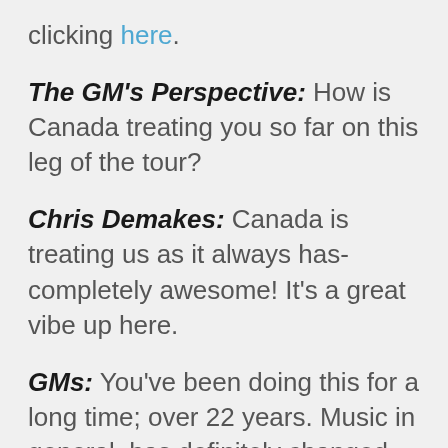clicking here.
The GM's Perspective: How is Canada treating you so far on this leg of the tour?
Chris Demakes: Canada is treating us as it always has-completely awesome! It's a great vibe up here.
GMs: You've been doing this for a long time; over 22 years. Music in general, has definitely changed. You are playing the music that you love, but it doesn't necessarily fit